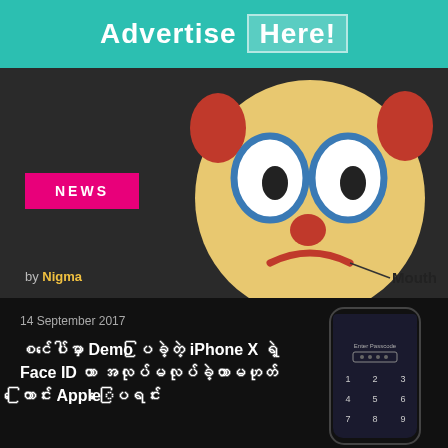[Figure (other): Advertisement banner with teal background reading 'Advertise Here!' in white bold text with a semi-transparent bordered box around 'Here!']
[Figure (illustration): Clown face emoji on dark background with large blue outlined eyes, red nose, sad red mouth, red hair, with a line pointing to the mouth labeled 'Mouth'. A pink NEWS badge and 'by Nigma' text overlay the image.]
14 September 2017
စင်ပေါ်မှာ Demo ပြခဲ့တဲ့ iPhone X ရဲ့ Face ID ဟာ အလုပ်မလုပ်ခဲ့တာမဟုတ်ကြောင်း Apple ေပြရင်း